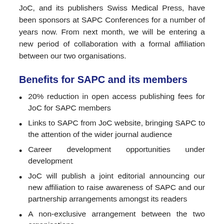JoC, and its publishers Swiss Medical Press, have been sponsors at SAPC Conferences for a number of years now. From next month, we will be entering a new period of collaboration with a formal affiliation between our two organisations.
Benefits for SAPC and its members
20% reduction in open access publishing fees for JoC for SAPC members
Links to SAPC from JoC website, bringing SAPC to the attention of the wider journal audience
Career development opportunities under development
JoC will publish a joint editorial announcing our new affiliation to raise awareness of SAPC and our partnership arrangements amongst its readers
A non-exclusive arrangement between the two organisations